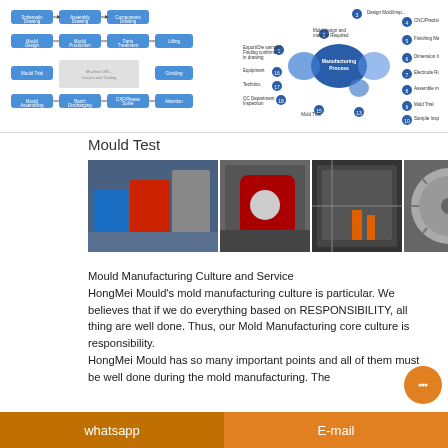[Figure (flowchart): Two-part diagram: left side shows a production flowchart with steps including Schematic Drawing, Assembly Drawing, Components Drawing, Mould Design, Mould Production, Parts Treatment, Lifting, Mould Trial, Mould Assembling, Batch Discharging, DXF/Please Solve, Attention. Right side shows a mind map of Manufacturing Process with nodes including CNC/Precision hardening, Finishing Machining, Dimension Inspection, Electrode Runner Bonding, Assemble mold, Mold Trial, Sample Inspection, and others.]
Mould Test
[Figure (photo): Four photos of mould testing: left shows blue and red plastic chairs next to a large injection molding machine; second shows close-up of injection molding machine with red component; third shows interior of mould/machine with orange cables; fourth shows circular mould component with radial pattern.]
Mould Manufacturing Culture and Service
HongMei Mould's mold manufacturing culture is particular. We believes that if we do everything based on RESPONSIBILITY, all thing are well done. Thus, our Mold Manufacturing core culture is responsibility.
HongMei Mould has so many important points and all of them must be well done during the mold manufacturing. The
whatsapp    E-mail